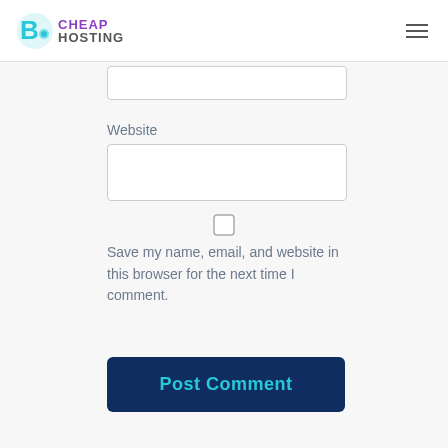Big Cheap Hosting
[Figure (screenshot): Partially visible text input field at top of form]
Website
[Figure (screenshot): Website text input field (empty)]
[Figure (screenshot): Checkbox (unchecked)]
Save my name, email, and website in this browser for the next time I comment.
[Figure (screenshot): Post Comment button with dark navy background and cyan text]